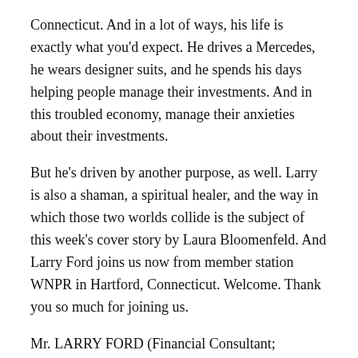Connecticut. And in a lot of ways, his life is exactly what you'd expect. He drives a Mercedes, he wears designer suits, and he spends his days helping people manage their investments. And in this troubled economy, manage their anxieties about their investments.
But he's driven by another purpose, as well. Larry is also a shaman, a spiritual healer, and the way in which those two worlds collide is the subject of this week's cover story by Laura Bloomenfeld. And Larry Ford joins us now from member station WNPR in Hartford, Connecticut. Welcome. Thank you so much for joining us.
Mr. LARRY FORD (Financial Consultant; Shaman): Thanks for having Michel. It's truly an honor.
MARTIN: Well, thank you. But first tell us, what is a